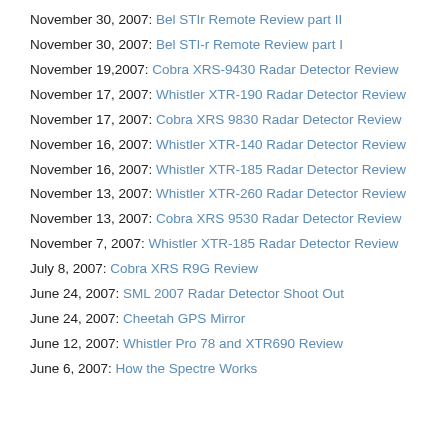November 30, 2007: Bel STIr Remote Review part II
November 30, 2007: Bel STI-r Remote Review part I
November 19,2007: Cobra XRS-9430 Radar Detector Review
November 17, 2007: Whistler XTR-190 Radar Detector Review
November 17, 2007: Cobra XRS 9830 Radar Detector Review
November 16, 2007: Whistler XTR-140 Radar Detector Review
November 16, 2007: Whistler XTR-185 Radar Detector Review
November 13, 2007: Whistler XTR-260 Radar Detector Review
November 13, 2007: Cobra XRS 9530 Radar Detector Review
November 7, 2007: Whistler XTR-185 Radar Detector Review
July 8, 2007: Cobra XRS R9G Review
June 24, 2007: SML 2007 Radar Detector Shoot Out
June 24, 2007: Cheetah GPS Mirror
June 12, 2007: Whistler Pro 78 and XTR690 Review
June 6, 2007: How the Spectre Works